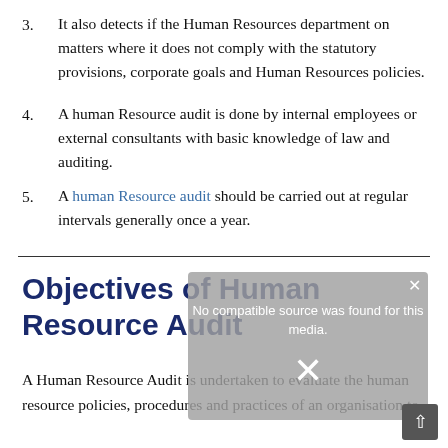3. It also detects if the Human Resources department on matters where it does not comply with the statutory provisions, corporate goals and Human Resources policies.
4. A human Resource audit is done by internal employees or external consultants with basic knowledge of law and auditing.
5. A human Resource audit should be carried out at regular intervals generally once a year.
Objectives of Human Resource Audit
A Human Resource Audit is undertaken to evaluate the human resource policies, procedures and practices of an organisation to